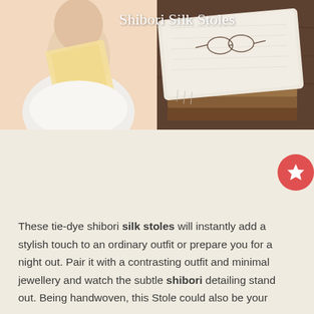Shibori Silk Stoles
[Figure (photo): Left: Person wearing a light golden/cream silk stole or scarf draped over a white outfit against a peach/beige background. Right: Textured white handwoven silk fabric or stole folded and stacked with books on a dark wooden surface.]
These tie-dye shibori silk stoles will instantly add a stylish touch to an ordinary outfit or prepare you for a night out. Pair it with a contrasting outfit and minimal jewellery and watch the subtle shibori detailing stand out. Being handwoven, this Stole could also be your